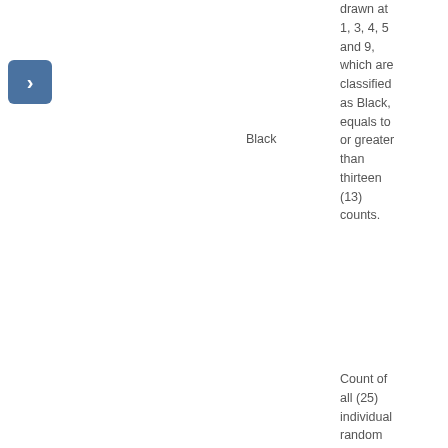[Figure (other): Navigation arrow button (blue rounded rectangle with right-pointing chevron)]
|  | Race/Ethnicity | Description | Threshold | Description (cont.) |
| --- | --- | --- | --- | --- |
|  | Black | drawn at 1, 3, 4, 5 and 9, which are classified as Black, equals to or greater than thirteen (13) counts. | 1.95 | L1, L2, L4 or drawn at 1, 3, 4, and 9, which classified as Bla, equals or greater than t (3) count. |
|  |  | Count of all (25) individual random numbers drawn at |  | Count (5) indivi random numb under speci |